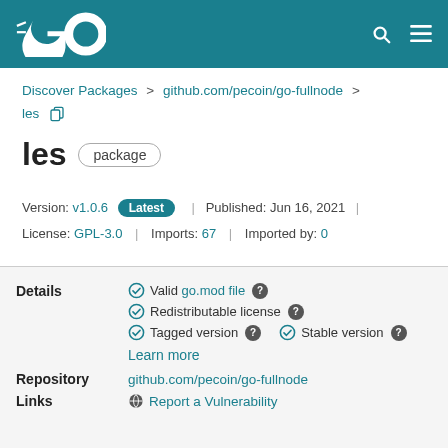GO
Discover Packages > github.com/pecoin/go-fullnode > les
les package
Version: v1.0.6 Latest | Published: Jun 16, 2021 | License: GPL-3.0 | Imports: 67 | Imported by: 0
Details
Valid go.mod file
Redistributable license
Tagged version   Stable version
Learn more
Repository
github.com/pecoin/go-fullnode
Links
Report a Vulnerability